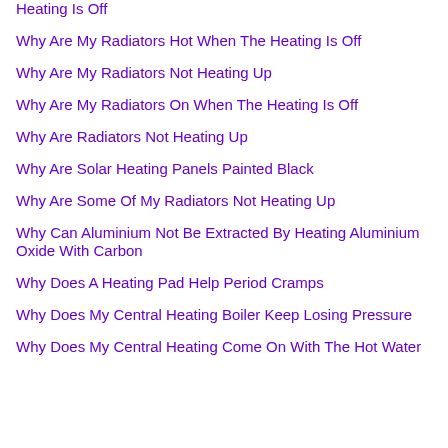Heating Is Off
Why Are My Radiators Hot When The Heating Is Off
Why Are My Radiators Not Heating Up
Why Are My Radiators On When The Heating Is Off
Why Are Radiators Not Heating Up
Why Are Solar Heating Panels Painted Black
Why Are Some Of My Radiators Not Heating Up
Why Can Aluminium Not Be Extracted By Heating Aluminium Oxide With Carbon
Why Does A Heating Pad Help Period Cramps
Why Does My Central Heating Boiler Keep Losing Pressure
Why Does My Central Heating Come On With The Hot Water